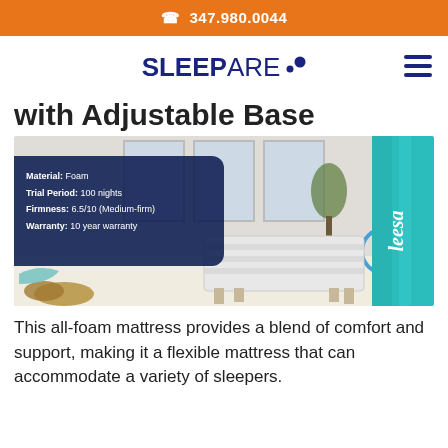☎ 347.980.0044
[Figure (logo): SLEEPARE logo with two dots in navy blue, and hamburger menu icon on the right]
With Adjustable Base
[Figure (photo): Bedroom scene with a mattress on a low bed frame. Dark navy overlay on left shows product specs: Material: Foam, Trial Period: 100 nights, Firmness: 6.5/10 (Medium-firm), Warranty: 10 year warranty. Leesa branded teal box visible on right side.]
This all-foam mattress provides a blend of comfort and support, making it a flexible mattress that can accommodate a variety of sleepers.